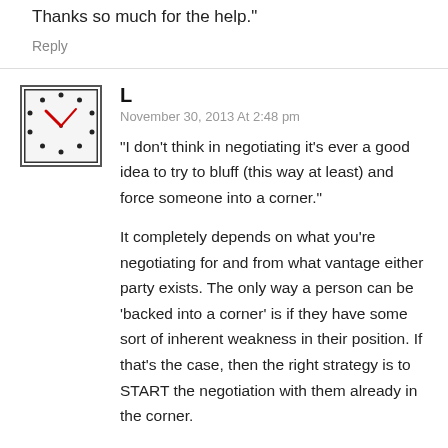needn't bother selling.
Thanks so much for the help."
Reply
L
November 30, 2013 At 2:48 pm
"I don't think in negotiating it's ever a good idea to try to bluff (this way at least) and force someone into a corner."
It completely depends on what you're negotiating for and from what vantage either party exists. The only way a person can be 'backed into a corner' is if they have some sort of inherent weakness in their position. If that's the case, then the right strategy is to START the negotiation with them already in the corner.